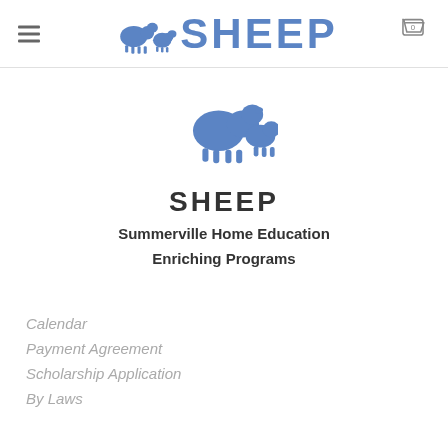SHEEP
[Figure (logo): SHEEP logo: two blue stylized sheep figures]
SHEEP
Summerville Home Education Enriching Programs
Calendar
Payment Agreement
Scholarship Application
By Laws